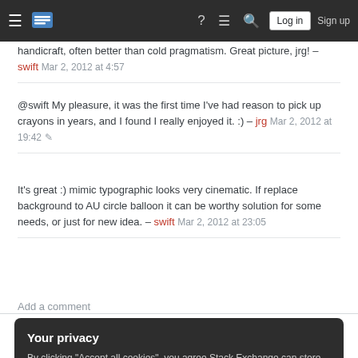Stack Exchange navigation header with hamburger menu, logo, help, chat, search, Log in, Sign up
handicraft, often better than cold pragmatism. Great picture, jrg! – swift Mar 2, 2012 at 4:57
@swift My pleasure, it was the first time I've had reason to pick up crayons in years, and I found I really enjoyed it. :) – jrg Mar 2, 2012 at 19:42
It's great :) mimic typographic looks very cinematic. If replace background to AU circle balloon it can be worthy solution for some needs, or just for new idea. – swift Mar 2, 2012 at 23:05
Add a comment
Your privacy
By clicking "Accept all cookies", you agree Stack Exchange can store cookies on your device and disclose information in accordance with our Cookie Policy.
Accept all cookies
Customize settings